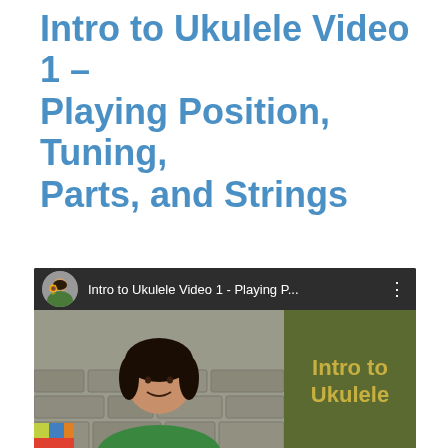Intro to Ukulele Video 1 – Playing Position, Tuning, Parts, and Strings
Hi Everyone!
This is our first video in our Introduction to the Ukulele series. In this video, Caroline will teach you the parts of the ukulele, the string names, and how to hold and tune the instrument.
[Figure (screenshot): YouTube video thumbnail showing 'Intro to Ukulele Video 1 - Playing P...' with a channel avatar (person holding ukulele), a woman sitting in front of a stone wall, and a dark olive-green panel on the right with gold bold text reading 'Intro to Ukulele']